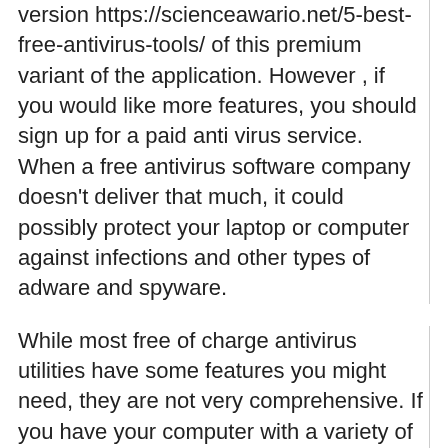version https://scienceawario.net/5-best-free-antivirus-tools/ of this premium variant of the application. However , if you would like more features, you should sign up for a paid anti virus service. When a free antivirus software company doesn't deliver that much, it could possibly protect your laptop or computer against infections and other types of adware and spyware.
While most free of charge antivirus utilities have some features you might need, they are not very comprehensive. If you have your computer with a variety of hardware and software, you'll want to get a free of charge antivirus program that provides the protection you need. Some cost-free antivirus utility bills can tidy up existing spy ware infestations. When you are looking for a totally free antivirus...